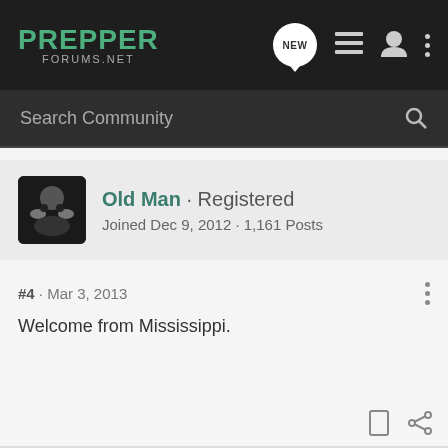PREPPER FORUMS.NET
Search Community
Old Man · Registered
Joined Dec 9, 2012 · 1,161 Posts
#4 · Mar 3, 2013
Welcome from Mississippi.